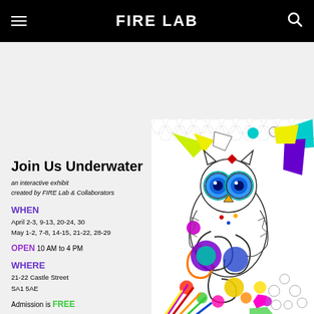FIRE LAB
Join Us Underwater
an interactive exhibit
created by FIRE Lab & Collaborators
WHEN
April 2-3, 9-13, 20-24, 30
May 1-2, 7-8, 14-15, 21-22, 28-29
OPEN 10 AM to 4 PM
WHERE
21-22 Castle Street
SA1 5AE
Admission is FREE
Got questions?
Tweet us
@FIRELabTweets & @OrielScience
[Figure (illustration): Colorful illustrated owl with geometric shapes, circles, spirals and patterns in purple, blue, yellow, green, orange, red, magenta colors on a white hexagonal grid background]